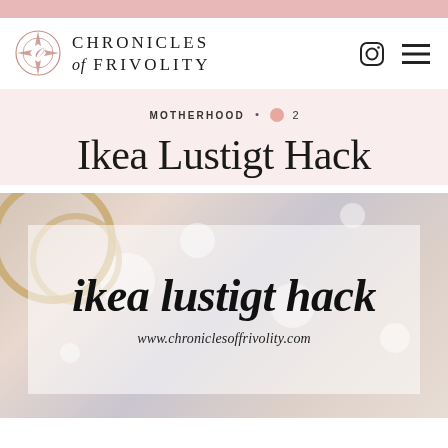[Figure (logo): Chronicles of Frivolity blog logo with decorative compass-rose icon and serif text]
MOTHERHOOD • 2
Ikea Lustigt Hack
[Figure (photo): Featured blog post image with blurred bokeh background and gold rings, overlaid with script text 'ikea lustigt hack' and url 'www.chroniclesoffrivolity.com']